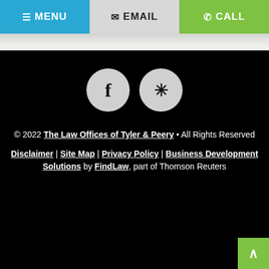≡ MENU   ✉ EMAIL   ✆ CALL
[Figure (screenshot): Hero image strip showing partial background image]
[Figure (illustration): Two social media icon circles: Facebook (f) and Yelp (*) on black background]
© 2022 The Law Offices of Tyler & Peery • All Rights Reserved
Disclaimer | Site Map | Privacy Policy | Business Development Solutions by FindLaw, part of Thomson Reuters